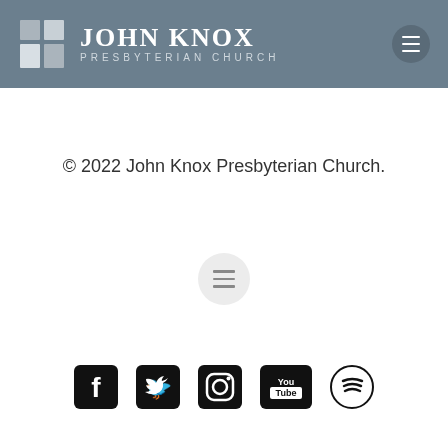[Figure (logo): John Knox Presbyterian Church logo with grid icon and church name on grey-blue header bar]
© 2022 John Knox Presbyterian Church.
[Figure (other): Grey circular menu/hamburger button]
[Figure (other): Social media icons: Facebook, Twitter, Instagram, YouTube, Spotify]
206-241-1606